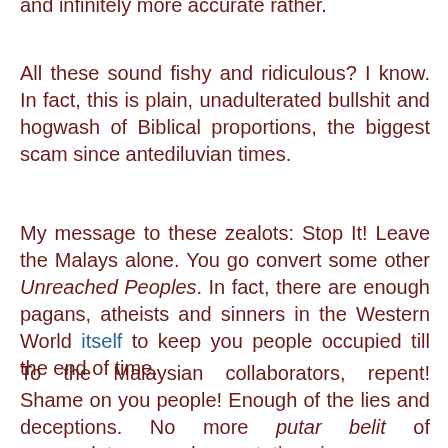and infinitely more accurate rather.
All these sound fishy and ridiculous? I know. In fact, this is plain, unadulterated bullshit and hogwash of Biblical proportions, the biggest scam since antediluvian times.
My message to these zealots: Stop It! Leave the Malays alone. You go convert some other Unreached Peoples. In fact, there are enough pagans, atheists and sinners in the Western World itself to keep you people occupied till the end of time.
To the Malaysian collaborators, repent! Shame on you people! Enough of the lies and deceptions. No more putar belit of nomenclatures, and connotations in your